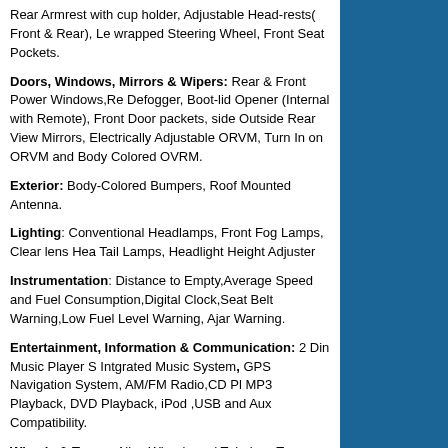Rear Armrest with cup holder, Adjustable Head-rests( Front & Rear), Leather wrapped Steering Wheel, Front Seat Pockets.
Doors, Windows, Mirrors & Wipers: Rear & Front Power Windows, Rear Defogger, Boot-lid Opener (Internal with Remote), Front Door packets, Both side Outside Rear View Mirrors, Electrically Adjustable ORVM, Turn Indicator on ORVM and Body Colored OVRM.
Exterior: Body-Colored Bumpers, Roof Mounted Antenna.
Lighting: Conventional Headlamps, Front Fog Lamps, Clear lens Head Tail Lamps, Headlight Height Adjuster
Instrumentation: Distance to Empty, Average Speed and Fuel Consumption, Digital Clock, Seat Belt Warning, Low Fuel Level Warning, Door Ajar Warning.
Entertainment, Information & Communication: 2 Din Music Player Screen Intgrated Music System, GPS Navigation System, AM/FM Radio, CD Player, MP3 Playback, DVD Playback, iPod ,USB and Aux Compatibility.
Wheels & Tyres : Alloy Wheels and Tubeless Tyres.
Manufacturer Warranty : 2 years warranty per 50000 km.
Color: Renault Scala Travelogue Edition are being offered in 2 colours metallic black and pearl white for its RxL and RxZ variant sedans.
Engine: The Scala Travelogue edition will be available in two variants. Scala is powered by a 1.5 litre diesel and 1.5 litre petrol engine.